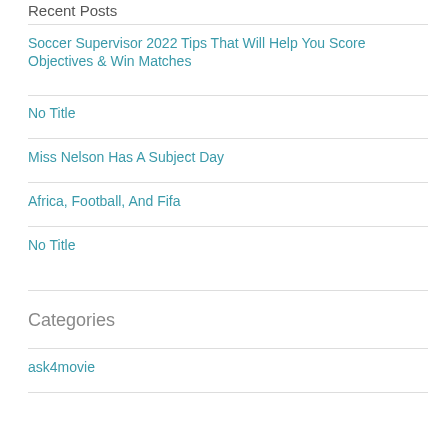Recent Posts
Soccer Supervisor 2022 Tips That Will Help You Score Objectives & Win Matches
No Title
Miss Nelson Has A Subject Day
Africa, Football, And Fifa
No Title
Categories
ask4movie